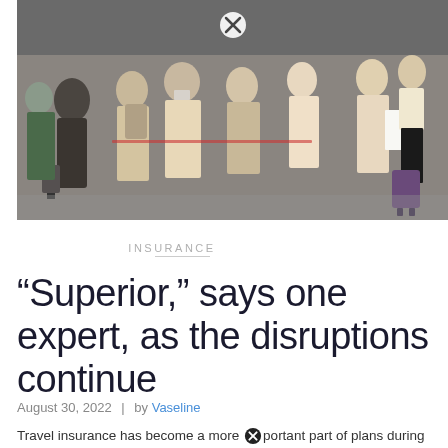[Figure (photo): Crowd of travelers with luggage queuing at an airport, wearing masks, some holding documents and bags.]
INSURANCE
“Superior,” says one expert, as the disruptions continue
August 30, 2022 | by Vaseline
Travel insurance has become a more important part of plans during the